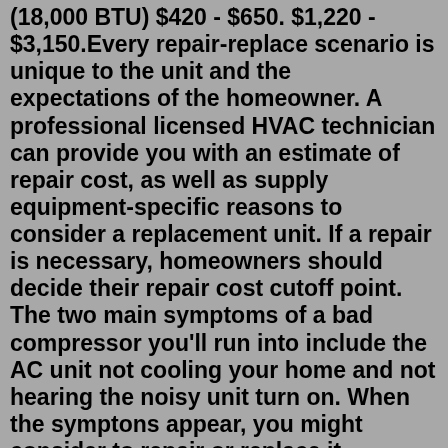(18,000 BTU) $420 - $650. $1,220 - $3,150.Every repair-replace scenario is unique to the unit and the expectations of the homeowner. A professional licensed HVAC technician can provide you with an estimate of repair cost, as well as supply equipment-specific reasons to consider a replacement unit. If a repair is necessary, homeowners should decide their repair cost cutoff point. The two main symptoms of a bad compressor you'll run into include the AC unit not cooling your home and not hearing the noisy unit turn on. When the symptons appear, you might consider to repair or replace it. Goodman AC Compressor Replacement Cost. Goodman AC compressor replacement costs is ranges depends on many factors. Goodman air conditioner compressor reset switch ... Wait at Ieast2 hours for overload to reset If still open, replace the compressor: e. Low voltage condition: e. Add start kit components: Low suction - cool compressor Iced Evaporator Coil: a. Low indoor airflow, dirty coil, dirty filters, etc. a. Increase speed of blower or reduce restriction